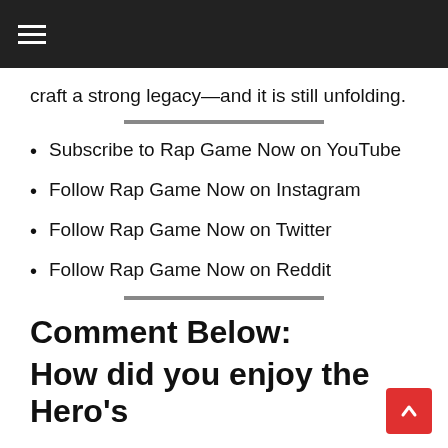☰
craft a strong legacy—and it is still unfolding.
Subscribe to Rap Game Now on YouTube
Follow Rap Game Now on Instagram
Follow Rap Game Now on Twitter
Follow Rap Game Now on Reddit
Comment Below:
How did you enjoy the Hero's